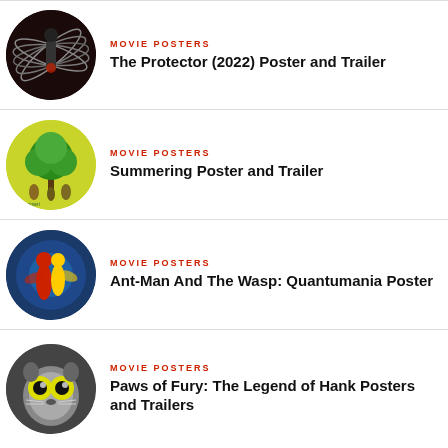[Figure (illustration): Circular thumbnail for The Protector (2022) movie poster showing a dark figure with fan/wing shapes]
MOVIE POSTERS
The Protector (2022) Poster and Trailer
[Figure (illustration): Circular thumbnail for Summering movie poster showing a green tree on yellow-green background with small figures below]
MOVIE POSTERS
Summering Poster and Trailer
[Figure (illustration): Circular thumbnail for Ant-Man And The Wasp: Quantumania showing superhero characters in blue sci-fi setting]
MOVIE POSTERS
Ant-Man And The Wasp: Quantumania Poster
[Figure (illustration): Circular thumbnail for Paws of Fury: The Legend of Hank showing animated cat/animal character with large yellow eyes]
MOVIE POSTERS
Paws of Fury: The Legend of Hank Posters and Trailers